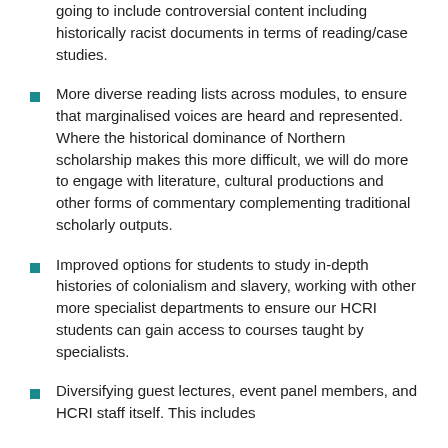going to include controversial content including historically racist documents in terms of reading/case studies.
More diverse reading lists across modules, to ensure that marginalised voices are heard and represented. Where the historical dominance of Northern scholarship makes this more difficult, we will do more to engage with literature, cultural productions and other forms of commentary complementing traditional scholarly outputs.
Improved options for students to study in-depth histories of colonialism and slavery, working with other more specialist departments to ensure our HCRI students can gain access to courses taught by specialists.
Diversifying guest lectures, event panel members, and HCRI staff itself. This includes